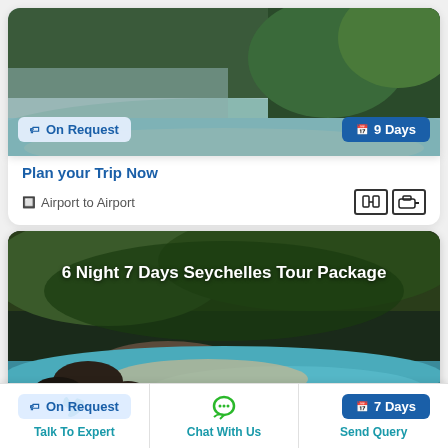[Figure (photo): Tropical beach with green lush forest and turquoise water, aerial view]
On Request
9 Days
Plan your Trip Now
Airport to Airport
[Figure (photo): Aerial view of Seychelles beach with turquoise water, rocks and tropical forest]
6 Night 7 Days Seychelles Tour Package
On Request
7 Days
Talk To Expert
Chat With Us
Send Query